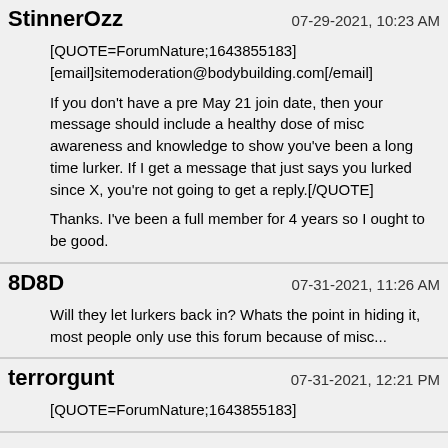StinnerOzz — 07-29-2021, 10:23 AM
[QUOTE=ForumNature;1643855183]
[email]sitemoderation@bodybuilding.com[/email]

If you don't have a pre May 21 join date, then your message should include a healthy dose of misc awareness and knowledge to show you've been a long time lurker. If I get a message that just says you lurked since X, you're not going to get a reply.[/QUOTE]

Thanks. I've been a full member for 4 years so I ought to be good.
8D8D — 07-31-2021, 11:26 AM
Will they let lurkers back in? Whats the point in hiding it, most people only use this forum because of misc...
terrorgunt — 07-31-2021, 12:21 PM
[QUOTE=ForumNature;1643855183]